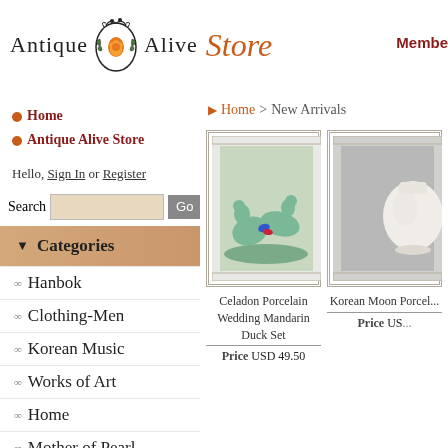[Figure (logo): Antique Alive Store logo with floral emblem, text reads Antique Alive Store]
Member
Home
Antique Alive Store
Hello, Sign In or Register
Search [input] Go
Categories
Hanbok
Clothing-Men
Korean Music
Works of Art
Home
Mother of Pearl
Paper Craft
Lamp
Home > New Arrivals
[Figure (photo): Celadon porcelain figurine of two mandarin ducks with blue and red accents on a tray]
Celadon Porcelain Wedding Mandarin Duck Set
Price USD 49.50
[Figure (photo): Korean moon jar - white porcelain round vase]
Korean Moon Porcel...
Price USD ...